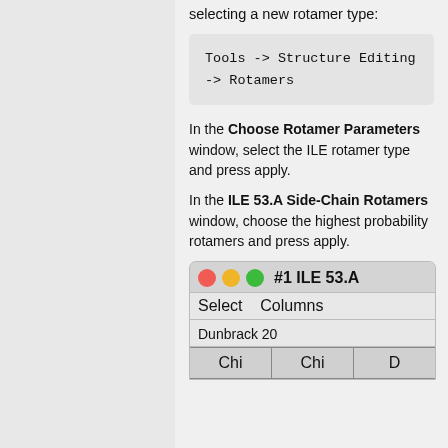selecting a new rotamer type:
Tools -> Structure Editing -> Rotamers
In the Choose Rotamer Parameters window, select the ILE rotamer type and press apply.
In the ILE 53.A Side-Chain Rotamers window, choose the highest probability rotamers and press apply.
[Figure (screenshot): Screenshot of ILE 53.A Side-Chain Rotamers window showing window controls (red, yellow, green dots), menu bar with Select and Columns, Dunbrack 20 column header, and Chi column headers]